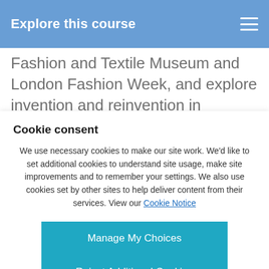Explore this course
Fashion and Textile Museum and London Fashion Week, and explore invention and reinvention in London's amazing
Cookie consent
We use necessary cookies to make our site work. We'd like to set additional cookies to understand site usage, make site improvements and to remember your settings. We also use cookies set by other sites to help deliver content from their services. View our Cookie Notice
Manage My Choices
Reject Additional Cookies
Accept Additional Cookies